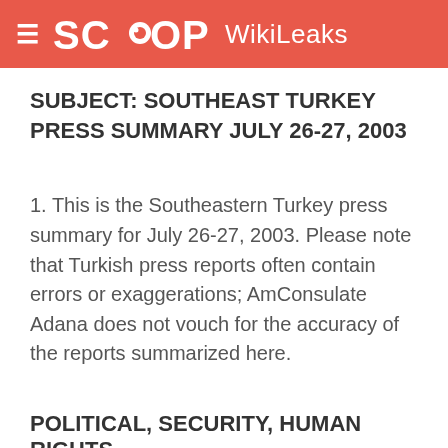SCOOP WikiLeaks
SUBJECT: SOUTHEAST TURKEY PRESS SUMMARY JULY 26-27, 2003
1. This is the Southeastern Turkey press summary for July 26-27, 2003. Please note that Turkish press reports often contain errors or exaggerations; AmConsulate Adana does not vouch for the accuracy of the reports summarized here.
POLITICAL, SECURITY, HUMAN RIGHTS